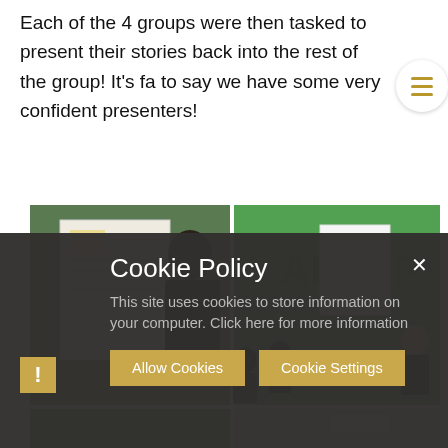Each of the 4 groups were then tasked to present their stories back into the rest of the group! It's fa to say we have some very confident presenters!
[Figure (photo): Two photos side by side showing students in a classroom/office with green walls. Left: a student in uniform presenting at a flip chart. Right: students seated watching a presenter near a whiteboard.]
Cookie Policy
This site uses cookies to store information on your computer. Click here for more information